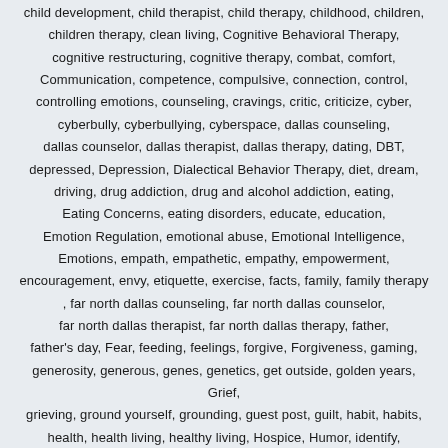child development, child therapist, child therapy, childhood, children, children therapy, clean living, Cognitive Behavioral Therapy, cognitive restructuring, cognitive therapy, combat, comfort, Communication, competence, compulsive, connection, control, controlling emotions, counseling, cravings, critic, criticize, cyber, cyberbully, cyberbullying, cyberspace, dallas counseling, dallas counselor, dallas therapist, dallas therapy, dating, DBT, depressed, Depression, Dialectical Behavior Therapy, diet, dream, driving, drug addiction, drug and alcohol addiction, eating, Eating Concerns, eating disorders, educate, education, Emotion Regulation, emotional abuse, Emotional Intelligence, Emotions, empath, empathetic, empathy, empowerment, encouragement, envy, etiquette, exercise, facts, family, family therapy , far north dallas counseling, far north dallas counselor, far north dallas therapist, far north dallas therapy, father, father's day, Fear, feeding, feelings, forgive, Forgiveness, gaming, generosity, generous, genes, genetics, get outside, golden years, Grief, grieving, ground yourself, grounding, guest post, guilt, habit, habits, health, health living, healthy living, Hospice, Humor, identify,